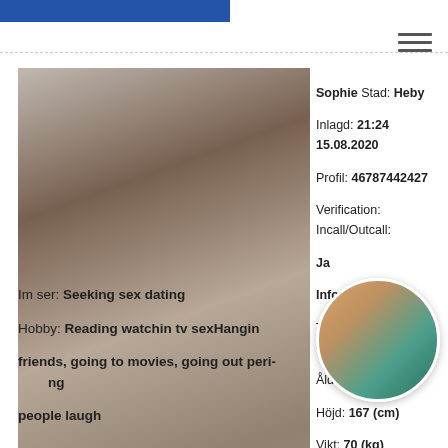[Figure (photo): Profile photo of woman]
Sophie Stad: Heby
Inlagd: 21:24 15.08.2020
Profil: 46787442427
Verification: Incall/Outcall:
Ja
Info
Telefon: +46XXX291499
Ålder: 23
Höjd: 167 (cm)
Vikt: 70 (kg)
Silikon: Ja
Parkering:
[Figure (photo): Thumbnail photo of woman in teal top and denim shorts]
Im ser: Seeking sex dating
Hobby: Reading watchin tv sexHanging with friends, going to movies, going out performing people laugh